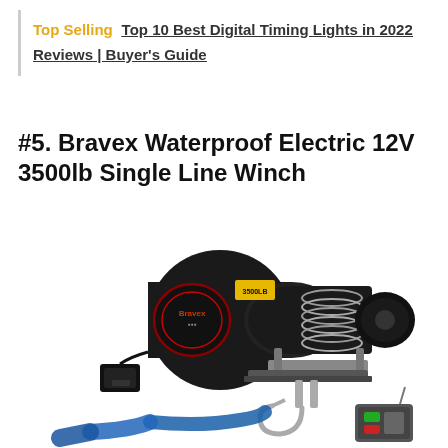Top Selling  Top 10 Best Digital Timing Lights in 2022 Reviews | Buyer's Guide
#5. Bravex Waterproof Electric 12V 3500lb Single Line Winch
[Figure (photo): Bravex Waterproof Electric 12V 3500lb Single Line Winch product photo showing a black electric winch with steel cable wound around drum, mounting bracket, hook with blue strap, and a wireless remote control with green and red buttons.]